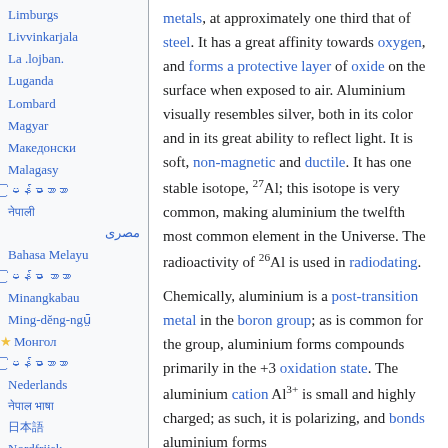Limburgs
Livvinkarjala
La .lojban.
Luganda
Lombard
Magyar
Македонски
Malagasy
မြန်မာဘာသာ
नेपाली
مصرى
Bahasa Melayu
မြန်မာဘာသာ
Minangkabau
Ming-dĕng-ngṳ̄
★ Монгол
မြန်မာဘာသာ
Nederlands
नेपाल भाषा
日本語
Nordfriisk
Norsk bokmål
Norsk nynorsk
metals, at approximately one third that of steel. It has a great affinity towards oxygen, and forms a protective layer of oxide on the surface when exposed to air. Aluminium visually resembles silver, both in its color and in its great ability to reflect light. It is soft, non-magnetic and ductile. It has one stable isotope, 27Al; this isotope is very common, making aluminium the twelfth most common element in the Universe. The radioactivity of 26Al is used in radiodating.
Chemically, aluminium is a post-transition metal in the boron group; as is common for the group, aluminium forms compounds primarily in the +3 oxidation state. The aluminium cation Al3+ is small and highly charged; as such, it is polarizing, and bonds aluminium forms